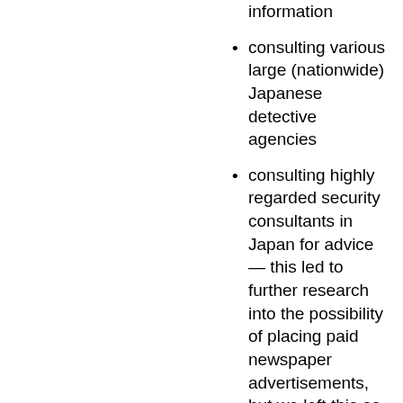information
consulting various large (nationwide) Japanese detective agencies
consulting highly regarded security consultants in Japan for advice — this led to further research into the possibility of placing paid newspaper advertisements, but we left this as a last resort due to prohibitive costs
engaging an international detective agency (on the basis that they could report back to Peter directly in English). Over many months they apparently tried phoning all Asayama in the Kure phone book, did discover